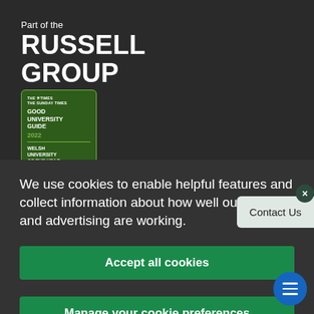Part of the
RUSSELL GROUP
[Figure (logo): The Times and The Sunday Times Good University Guide 2022 - Welsh University of the Year badge, green bordered rectangle]
We use cookies to enable helpful features and collect information about how well our website and advertising are working.
Accept all cookies
Contact Us
Manage your cookie preferences